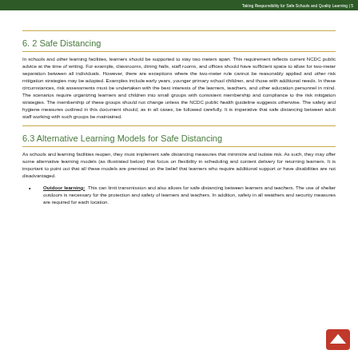Taking Responsibility for Safe Schools and Quality Learning | 5
6. 2 Safe Distancing
In schools and other learning facilities, learners should be supported to stay two meters apart. This requirement reflects current NCDC public advice at the time of writing. For example, classrooms, dining halls, staff rooms, and offices should have sufficient space to allow for two-meter separation between all individuals. However, there are exceptions where the two-meter rule cannot be reasonably applied and other risk mitigation strategies may be adopted. Examples include early years, younger primary school children, and those with additional needs. In these circumstances, risk assessments must be undertaken with the best interests of the learners, teachers, and other education personnel in mind. The scenarios require organizing learners and children into small groups with consistent membership and compliance to the risk mitigation strategies. The membership of these groups should not change unless the NCDC public health guideline suggests otherwise. The safety and hygiene measures outlined in this document should, as in all cases, be followed carefully. It is imperative that safe distancing between adult staff working with such groups be maintained.
6.3 Alternative Learning Models for Safe Distancing
As schools and learning facilities reopen, they must implement safe distancing measures that minimize and isolate risk. As such, they may offer some alternative learning models (as illustrated below) that focus on flexibility in scheduling and content delivery for returning learners. It is important to point out that all these models are premised on the belief that learners who require additional support or have disabilities are not disadvantaged.
Outdoor learning: This can limit transmission and also allows for safe distancing between learners and teachers. The use of shelter outdoors is necessary for the protection and safety of learners and teachers. In addition, safety in all weathers and security measures are required for each location.